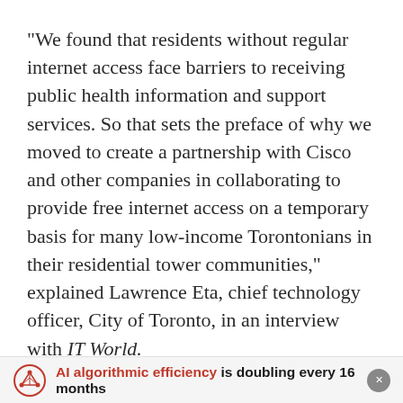“We found that residents without regular internet access face barriers to receiving public health information and support services. So that sets the preface of why we moved to create a partnership with Cisco and other companies in collaborating to provide free internet access on a temporary basis for many low-income Torontonians in their residential tower communities,” explained Lawrence Eta, chief technology officer, City of Toronto, in an interview with IT World.
In January 2020, the City of Toronto passed the city’s digital infrastructure plan to drive the city’s commitment to use digital infrastructure to foster
AI algorithmic efficiency is doubling every 16 months